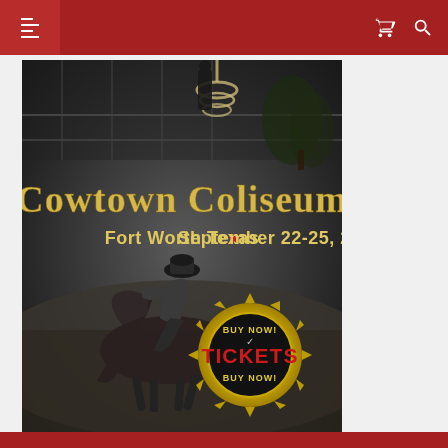Navigation header with menu, cart, and search icons
[Figure (photo): Cowtown Coliseum event poster: black and white photo of a cowboy on horseback at a rodeo arena. Text reads 'Cowtown Coliseum, Fort Worth Texas * September 22-25, 2022' with a gold 'BUY NOW! TICKETS BUY NOW!' badge in bottom right corner.]